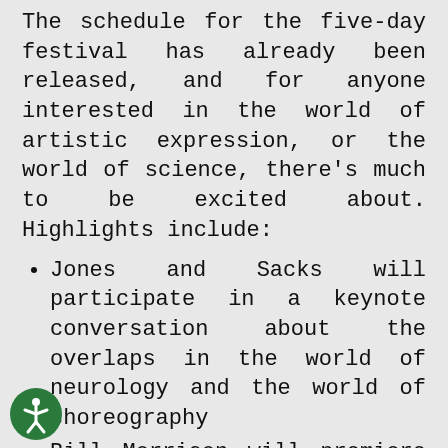The schedule for the five-day festival has already been released, and for anyone interested in the world of artistic expression, or the world of science, there's much to be excited about. Highlights include:
Jones and Sacks will participate in a keynote conversation about the overlaps in the world of neurology and the world of choreography
Bill Morrison will premiere his new film, RE:Awakenings, which is based on original footage shot by Sacks
Many of the neurologist's former patients will sit on panels to discuss the impact of Sack's creative inclinations on their healing and coping processes
Philosophers, writers, and doctors will host discussions dedicated to the doctor's many critically acclaimed books